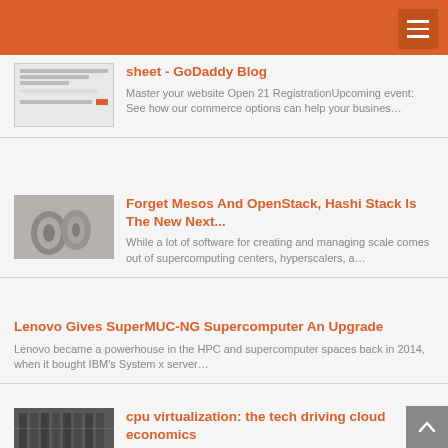[Figure (screenshot): Screenshot of a web form or settings page showing form fields]
sheet - GoDaddy Blog
Master your website Open 21 RegistrationUpcoming event: See how our commerce options can help your busines…
[Figure (photo): Black and white photo showing rolls of tape or cylindrical objects]
Forget Mesos And OpenStack, Hashi Stack Is The New Next...
While a lot of software for creating and managing scale comes out of supercomputing centers, hyperscalers, a…
Lenovo Gives SuperMUC-NG Supercomputer An Upgrade
Lenovo became a powerhouse in the HPC and supercomputer spaces back in 2014, when it bought IBM's System x server…
[Figure (photo): Black and white photo of a data center with server racks]
cpu virtualization: the tech driving cloud economics